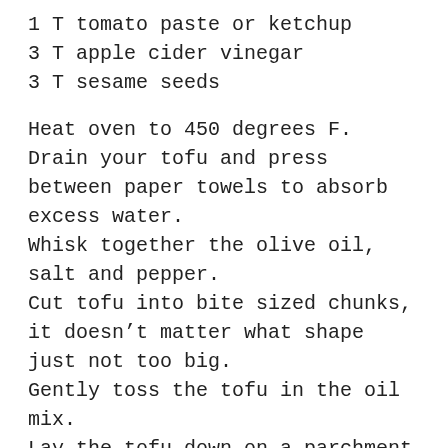1 T tomato paste or ketchup
3 T apple cider vinegar
3 T sesame seeds
Heat oven to 450 degrees F.
Drain your tofu and press between paper towels to absorb excess water.
Whisk together the olive oil, salt and pepper.
Cut tofu into bite sized chunks, it doesn't matter what shape just not too big.
Gently toss the tofu in the oil mix.
Lay the tofu down on a parchment lined baking sheet making sure the pieces aren't touching each other.
Bake for 15-25 minutes, depending on your oven, until tofu starts to brown.
While the tofu is baking, whisk together the rest of the ingredients to make your glaze.
When the tofu is golden-y brown, toss it in the